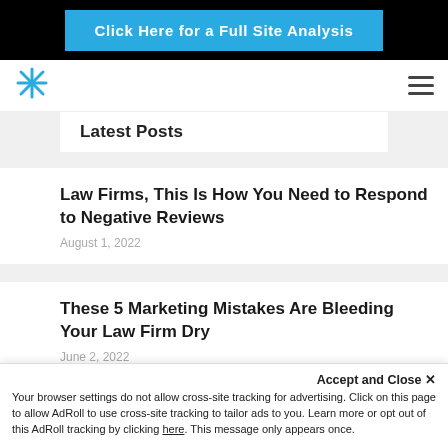[Figure (other): CTA button: Click Here for a Full Site Analysis on black background]
[Figure (logo): Blue asterisk/star logo and hamburger menu nav bar]
Latest Posts
Law Firms, This Is How You Need to Respond to Negative Reviews
August 1, 2022
These 5 Marketing Mistakes Are Bleeding Your Law Firm Dry
June 2, 2022
Your law firm has $130,000 to spen…
Accept and Close ✕
Your browser settings do not allow cross-site tracking for advertising. Click on this page to allow AdRoll to use cross-site tracking to tailor ads to you. Learn more or opt out of this AdRoll tracking by clicking here. This message only appears once.